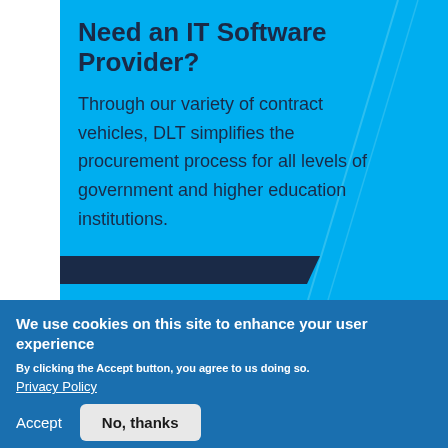Need an IT Software Provider?
Through our variety of contract vehicles, DLT simplifies the procurement process for all levels of government and higher education institutions.
We use cookies on this site to enhance your user experience
By clicking the Accept button, you agree to us doing so.
Privacy Policy
Accept
No, thanks